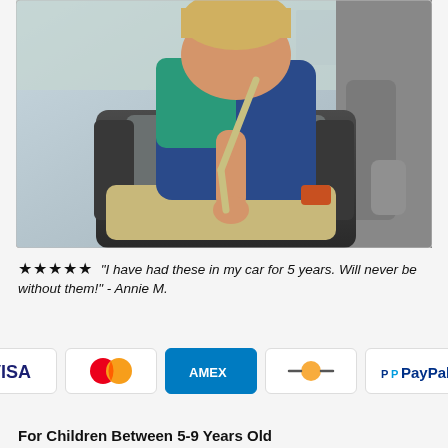[Figure (photo): Child sitting in a car booster seat, buckling the seat belt harness. The child is wearing a blue t-shirt and khaki shorts, with a teal jacket visible. The car seat is black and gray with red accents.]
★★★★★ "I have had these in my car for 5 years. Will never be without them!" - Annie M.
[Figure (infographic): Payment method icons: VISA, Mastercard, American Express (AMEX), a generic card icon, and PayPal.]
For Children Between 5-9 Years Old